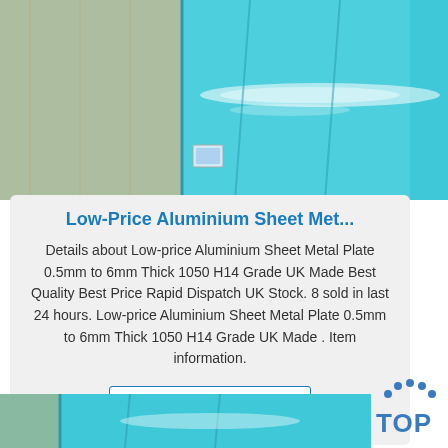[Figure (photo): Blue aluminium sheet metal plates stacked, viewed from above at an angle, with reflective highlights on teal/cyan surface]
Low-Price Aluminium Sheet Met...
Details about Low-price Aluminium Sheet Metal Plate 0.5mm to 6mm Thick 1050 H14 Grade UK Made Best Quality Best Price Rapid Dispatch UK Stock. 8 sold in last 24 hours. Low-price Aluminium Sheet Metal Plate 0.5mm to 6mm Thick 1050 H14 Grade UK Made . Item information.
Get Price
[Figure (logo): TOP logo with dotted arc above letters T-O-P in blue]
[Figure (photo): Blue aluminium sheet metal plates partial view at bottom of page]